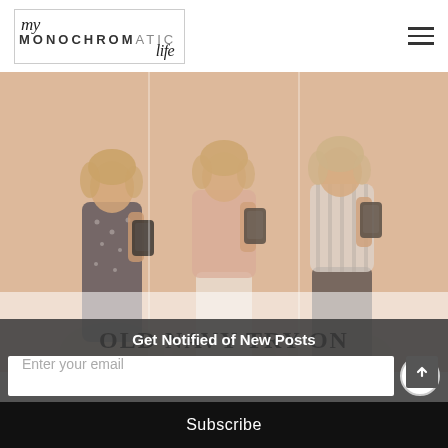[Figure (logo): My Monochromatic Life blog logo with cursive 'my' and uppercase 'MONOCHROMATIC' with 'life' in cursive, enclosed in a light grey border box]
[Figure (photo): Three women taking mirror selfies with phones in a fitting room with peach/tan walls, wearing different outfits: a dark patterned spaghetti strap dress, a blush pink top with white pants, and a white/grey striped top with dark skirt]
OLD NAVY TRY ON
Get Notified of New Posts
Enter your email
Subscribe